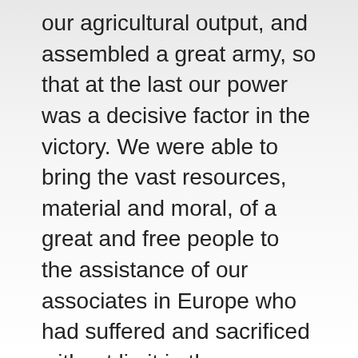our agricultural output, and assembled a great army, so that at the last our power was a decisive factor in the victory. We were able to bring the vast resources, material and moral, of a great and free people to the assistance of our associates in Europe who had suffered and sacrificed without limit in the cause for which we fought.
	Out of this victory there arose new possibilities of political freedom and economic concert. The war showed us the strength of great nations acting together for high purposes, and the victory of arms foretells the enduring conquests which can be made in peace when nations act justly and in furtherance of the common interests of men.
	To us in America the reflections of Armistice Day will be filled with solemn pride in the